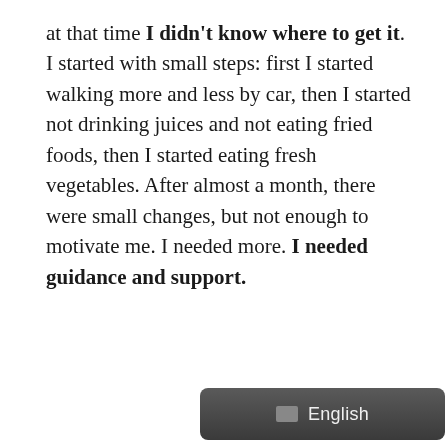at that time I didn't know where to get it. I started with small steps: first I started walking more and less by car, then I started not drinking juices and not eating fried foods, then I started eating fresh vegetables. After almost a month, there were small changes, but not enough to motivate me. I needed more. I needed guidance and support.
[Figure (screenshot): A language selector button showing 'English' with a small flag/icon, on a dark rounded rectangle background]